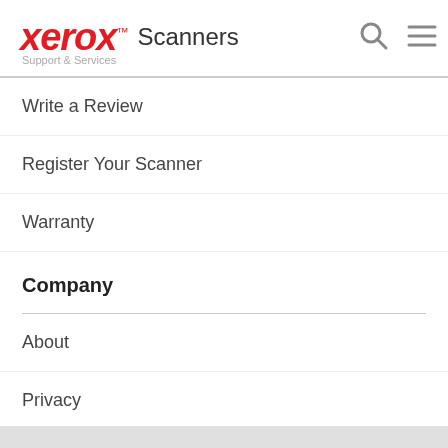Xerox Scanners — Support & Services
Write a Review
Register Your Scanner
Warranty
Company
About
Privacy
Legal Information